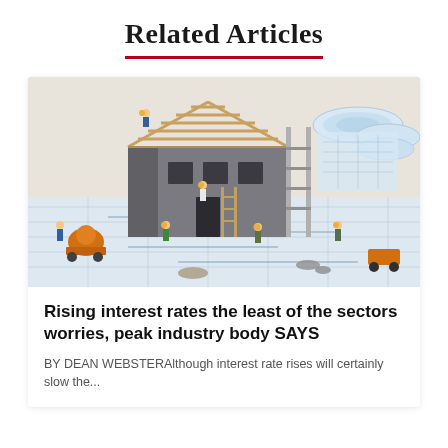Related Articles
[Figure (photo): Construction scene showing a miniature model house being built with figurine workers in yellow hard hats, wooden roof framing, scaffolding, a cement mixer, and architectural blueprint drawings underneath. Rolled blueprints visible in the upper right corner.]
Rising interest rates the least of the sectors worries, peak industry body SAYS
BY DEAN WEBSTERAlthough interest rate rises will certainly slow the...